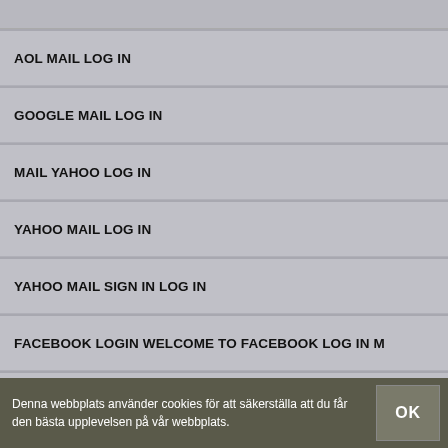AOL MAIL LOG IN
GOOGLE MAIL LOG IN
MAIL YAHOO LOG IN
YAHOO MAIL LOG IN
YAHOO MAIL SIGN IN LOG IN
FACEBOOK LOGIN WELCOME TO FACEBOOK LOG IN M
FACEBOOK LOGIN WELCOME TO FACEBOOK LOG IN
Denna webbplats använder cookies för att säkerställa att du får den bästa upplevelsen på vår webbplats.